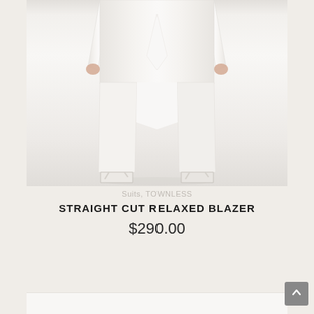[Figure (photo): A model wearing a white straight cut relaxed blazer and matching white wide-leg trousers with white strappy sandals, photographed from the torso down against a light grey/white background.]
Suits, TOWNLESS
STRAIGHT CUT RELAXED BLAZER
$290.00